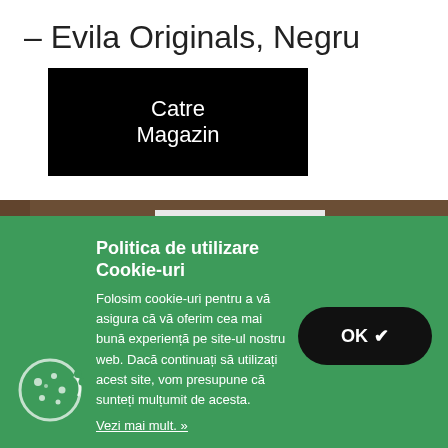– Evila Originals, Negru
Catre Magazin
[Figure (photo): A rustic wooden door with white frame in a room with beige/tan walls]
Politica de utilizare Cookie-uri
Folosim cookie-uri pentru a vă asigura că vă oferim cea mai bună experiență pe site-ul nostru web. Dacă continuați să utilizați acest site, vom presupune că sunteți mulțumit de acesta.
Vezi mai mult. »